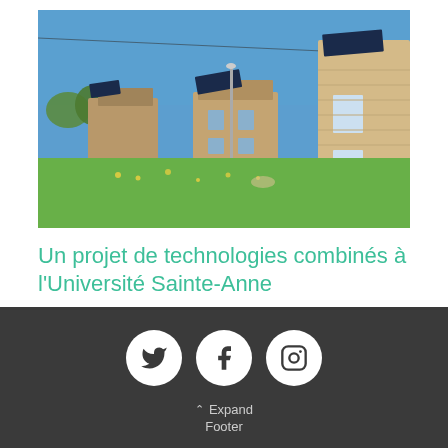[Figure (photo): Exterior photo of university buildings with solar panels on rooftops, green lawn in foreground, blue sky, taken on a sunny day at Université Sainte-Anne]
Un projet de technologies combinés à l'Université Sainte-Anne
Expand Footer